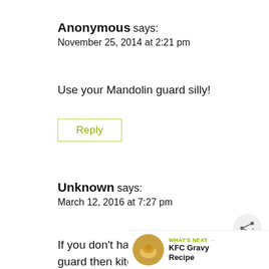Anonymous says:
November 25, 2014 at 2:21 pm
Use your Mandolin guard silly!
Reply
Unknown says:
March 12, 2016 at 7:27 pm
If you don't have a guard then kitchen towel